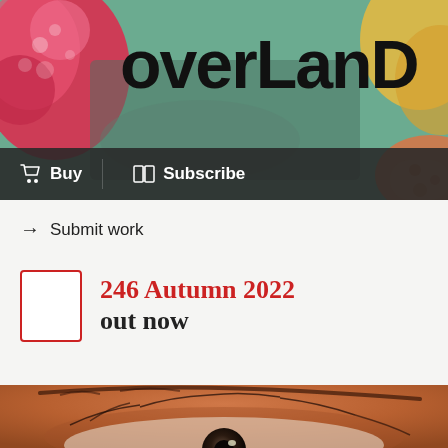[Figure (illustration): Colorful collage banner image at the top with red/pink blobs, green teal background, hands, and orange/yellow objects. The Overland magazine logo in large mixed-case text overlays the image.]
overLanD
[Figure (other): Dark navigation bar with Buy (cart icon) and Subscribe (book icon) buttons]
→ Submit work
[Figure (other): Small red-bordered magazine cover thumbnail]
246 Autumn 2022
out now
[Figure (photo): Close-up photo of a human eye with orange-tinted skin, prominent lashes, and a dark iris with a light reflection. The image fills the bottom portion of the page.]